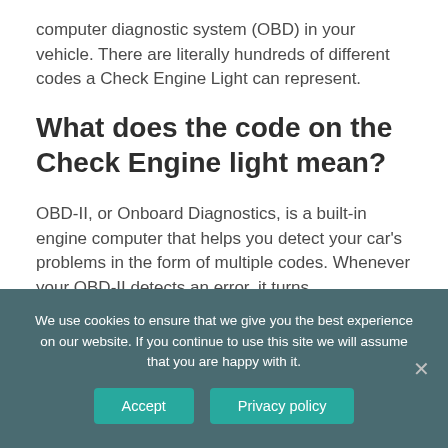computer diagnostic system (OBD) in your vehicle. There are literally hundreds of different codes a Check Engine Light can represent.
What does the code on the Check Engine light mean?
OBD-II, or Onboard Diagnostics, is a built-in engine computer that helps you detect your car's problems in the form of multiple codes. Whenever your OBD-II detects an error, it turns
We use cookies to ensure that we give you the best experience on our website. If you continue to use this site we will assume that you are happy with it.